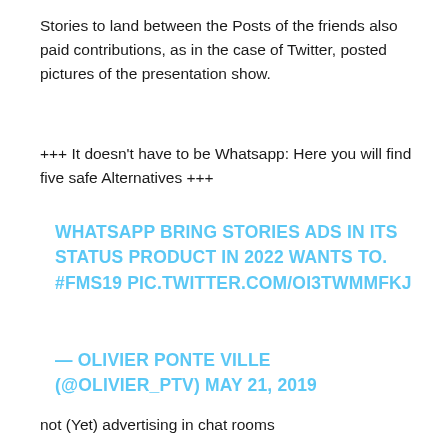Stories to land between the Posts of the friends also paid contributions, as in the case of Twitter, posted pictures of the presentation show.
+++ It doesn’t have to be Whatsapp: Here you will find five safe Alternatives +++
WHATSAPP BRING STORIES ADS IN ITS STATUS PRODUCT IN 2022 WANTS TO. #FMS19 PIC.TWITTER.COM/OI3TWMMFKJ
— OLIVIER PONTE VILLE (@OLIVIER_PTV) MAY 21, 2019
not (Yet) advertising in chat rooms